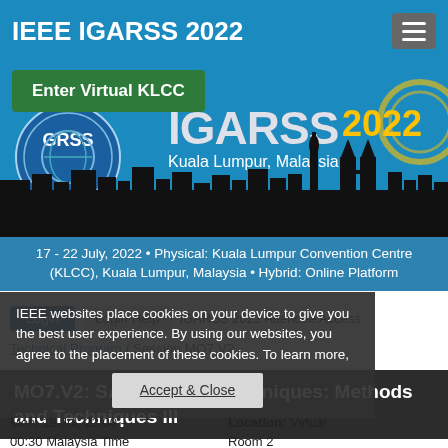IEEE IGARSS 2022
Enter Virtual KLCC
[Figure (illustration): IEEE GRSS and IGARSS 2022 conference banner with Kuala Lumpur skyline silhouette, logo and text: IGARSS 2022, Kuala Lumpur, Malaysia]
17 - 22 July, 2022 • Physical: Kuala Lumpur Convention Centre (KLCC), Kuala Lumpur, Malaysia • Hybrid: Online Platform
IEEE websites place cookies on your device to give you the best user experience. By using our websites, you agree to the placement of these cookies. To learn more, read our Privacy Policy.
Accept & Close
Login  Login Help  IGARSS 2022 Attendee Access
Technical Program / Session MO7.V2
MO7.V2: SAR Imaging Techniques: Methods and Techniques III
Mon, 18 Jul, 23:00 - 00:30 Malaysia Time (UTC +8)
Location: Virtual Room 2
Session Type: Oral